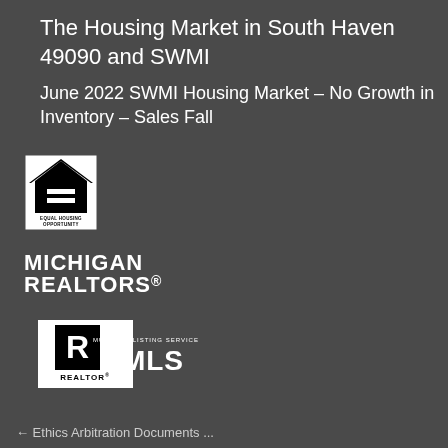The Housing Market in South Haven 49090 and SWMI
June 2022 SWMI Housing Market – No Growth in Inventory – Sales Fall
[Figure (logo): Equal Housing Opportunity logo — house outline with equals sign, text 'EQUAL HOUSING OPPORTUNITY' below]
[Figure (logo): Michigan Realtors® logo — bold text 'MICHIGAN REALTORS®' in white on dark background]
[Figure (logo): Realtor MLS logo — 'REALTOR®' emblem with key symbol and 'MULTIPLE LISTING SERVICE MLS' text]
← Ethics Arbitration Documents ...